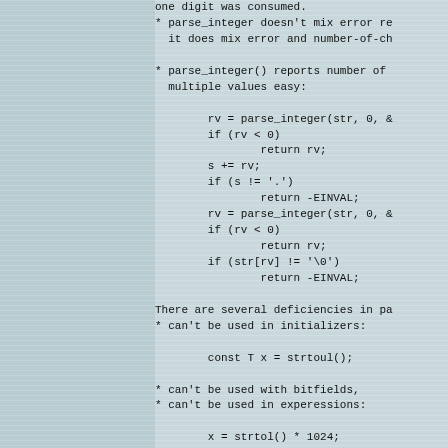one digit was consumed.
* parse_integer doesn't mix error re
  it does mix error and number-of-ch
* parse_integer() reports number of
  multiple values easy:

        rv = parse_integer(str, 0, &
        if (rv < 0)
                return rv;
        s += rv;
        if (s != '.')
                return -EINVAL;
        rv = parse_integer(str, 0, &
        if (rv < 0)
                return rv;
        if (str[rv] != '\0')
                return -EINVAL;
There are several deficiencies in pa
* can't be used in initializers:

        const T x = strtoul();
* can't be used with bitfields,
* can't be used in experessions:

        x = strtol() * 1024;
        x = y = strtol() * 1024;
        x += strtol();